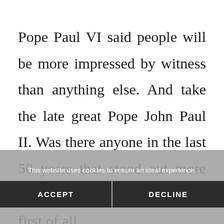Pope Paul VI said people will be more impressed by witness than anything else. And take the late great Pope John Paul II. Was there anyone in the last 50 years that stood out more than he did? Why? Because first of all
This website uses cookies to ensure an ideal experience.
ACCEPT
DECLINE